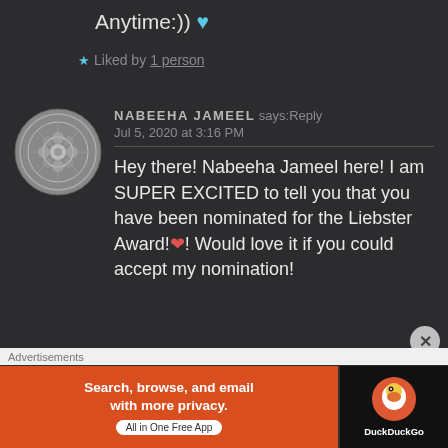Anytime:)) 💙
★ Liked by 1 person
[Figure (photo): Circular decorative coin or medallion avatar image for user Nabeeha Jameel]
NABEEHA JAMEEL says: Reply
Jul 5, 2020 at 3:16 PM
Hey there! Nabeeha Jameel here! I am SUPER EXCITED to tell you that you have been nominated for the Liebster Award!❤️! Would love it if you could accept my nomination!
Advertisements
[Figure (screenshot): DuckDuckGo advertisement banner: orange section reads 'Search, browse, and email with more privacy. All in One Free App', black section shows DuckDuckGo logo]